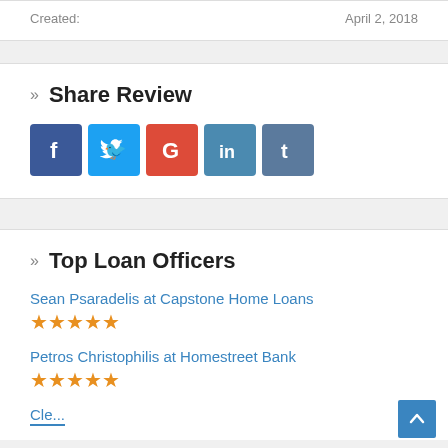Created:    April 2, 2018
» Share Review
[Figure (other): Social sharing buttons: Facebook (f), Twitter bird, Google (G), LinkedIn (in), Tumblr (t)]
» Top Loan Officers
Sean Psaradelis at Capstone Home Loans
[Figure (other): 5 gold stars rating]
Petros Christophilis at Homestreet Bank
[Figure (other): 5 gold stars rating]